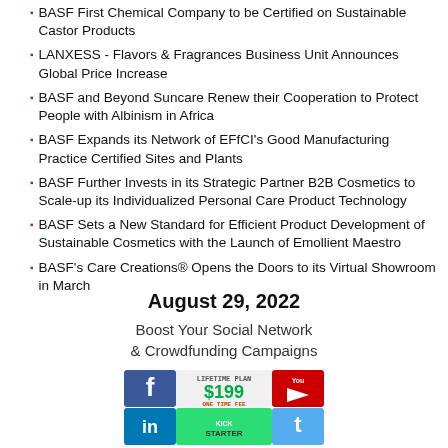BASF First Chemical Company to be Certified on Sustainable Castor Products
LANXESS - Flavors & Fragrances Business Unit Announces Global Price Increase
BASF and Beyond Suncare Renew their Cooperation to Protect People with Albinism in Africa
BASF Expands its Network of EFfCI's Good Manufacturing Practice Certified Sites and Plants
BASF Further Invests in its Strategic Partner B2B Cosmetics to Scale-up its Individualized Personal Care Product Technology
BASF Sets a New Standard for Efficient Product Development of Sustainable Cosmetics with the Launch of Emollient Maestro
BASF's Care Creations® Opens the Doors to its Virtual Showroom in March
August 29, 2022
Boost Your Social Network & Crowdfunding Campaigns
[Figure (infographic): Social media and crowdfunding ad showing Facebook, YouTube, LinkedIn, Kickstarter, Twitter logos with LIFETIME PLAN $199 ONE TIME FEE text]